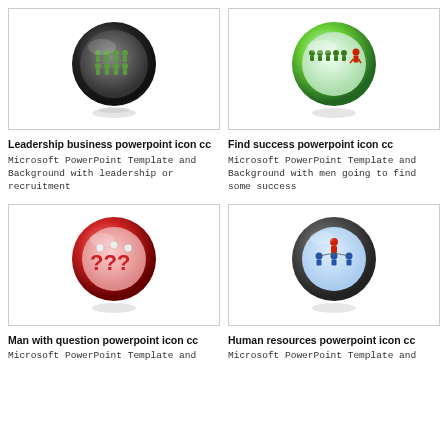[Figure (illustration): Leadership business powerpoint icon - dark glossy sphere with green crowd of people figures inside]
[Figure (illustration): Find success powerpoint icon - green glossy sphere with crowd of people figures and one red figure standing out]
Leadership business powerpoint icon cc
Find success powerpoint icon cc
Microsoft PowerPoint Template and Background with leadership or recruitment
Microsoft PowerPoint Template and Background with men going to find some success
[Figure (illustration): Man with question powerpoint icon - red glossy sphere with question mark figures inside]
[Figure (illustration): Human resources powerpoint icon - light blue glossy sphere with people hierarchy figures]
Man with question powerpoint icon cc
Human resources powerpoint icon cc
Microsoft PowerPoint Template and
Microsoft PowerPoint Template and